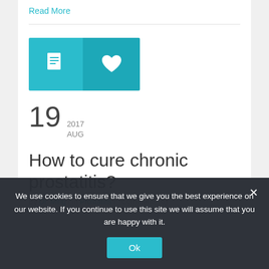Read More
[Figure (other): Blog post thumbnail with two teal/blue squares — left square has a document icon, right square has a heart icon]
19 2017 AUG
How to cure chronic prostatitis?
By Dr. Ming / In Prostatitis / Comments (0)
We use cookies to ensure that we give you the best experience on our website. If you continue to use this site we will assume that you are happy with it.